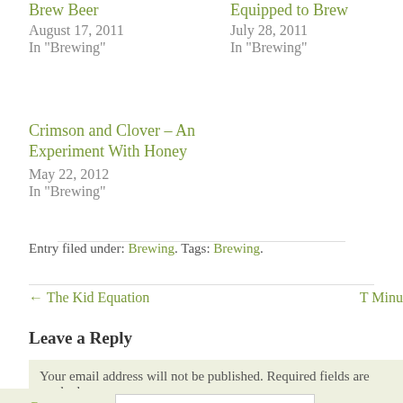Brew Beer
August 17, 2011
In "Brewing"
Equipped to Brew
July 28, 2011
In "Brewing"
Crimson and Clover – An Experiment With Honey
May 22, 2012
In "Brewing"
Entry filed under: Brewing. Tags: Brewing.
← The Kid Equation
T Minu
Leave a Reply
Your email address will not be published. Required fields are marked
Comment